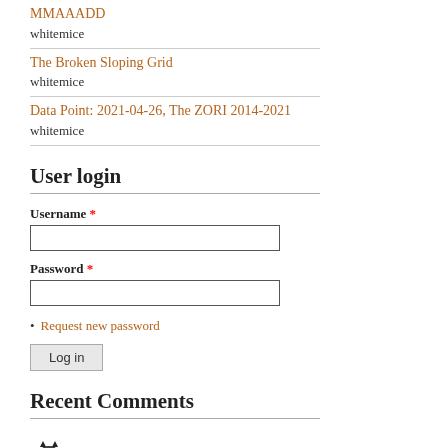MMAAADD
whitemice
The Broken Sloping Grid
whitemice
Data Point: 2021-04-26, The ZORI 2014-2021
whitemice
User login
Username *
Password *
Request new password
Log in
Recent Comments
whitemice Thanks.